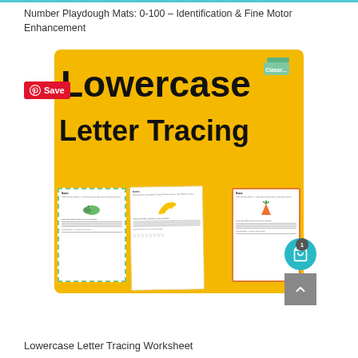Number Playdough Mats: 0-100 – Identification & Fine Motor Enhancement
[Figure (illustration): Lowercase Letter Tracing educational product cover image on yellow background with three worksheet previews. Text reads 'Lowercase Letter Tracing'. A Pinterest Save button overlays top-left corner.]
Lowercase Letter Tracing Worksheet